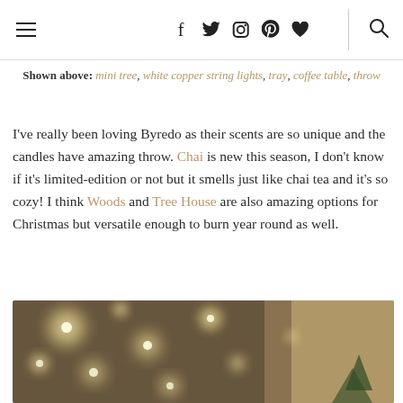Navigation bar with hamburger menu, social icons (f, twitter, instagram, pinterest, heart), divider, and search icon
Shown above: mini tree, white copper string lights, tray, coffee table, throw
I've really been loving Byredo as their scents are so unique and the candles have amazing throw. Chai is new this season, I don't know if it's limited-edition or not but it smells just like chai tea and it's so cozy! I think Woods and Tree House are also amazing options for Christmas but versatile enough to burn year round as well.
[Figure (photo): Blurred bokeh photo of a Christmas tree with warm glowing string lights against a beige curtain background]